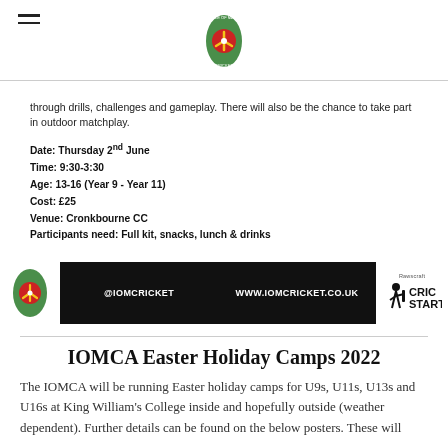IOM Cricket logo header with hamburger menu
through drills, challenges and gameplay. There will also be the chance to take part in outdoor matchplay.
Date: Thursday 2nd June
Time: 9:30-3:30
Age: 13-16 (Year 9 - Year 11)
Cost: £25
Venue: Cronkbourne CC
Participants need: Full kit, snacks, lunch & drinks
[Figure (infographic): Black banner with IOM Cricket logo on left, @IOMCRICKET handle, WWW.IOMCRICKET.CO.UK URL, and CricStart logo on right]
IOMCA Easter Holiday Camps 2022
The IOMCA will be running Easter holiday camps for U9s, U11s, U13s and U16s at King William's College inside and hopefully outside (weather dependent). Further details can be found on the below posters. These will